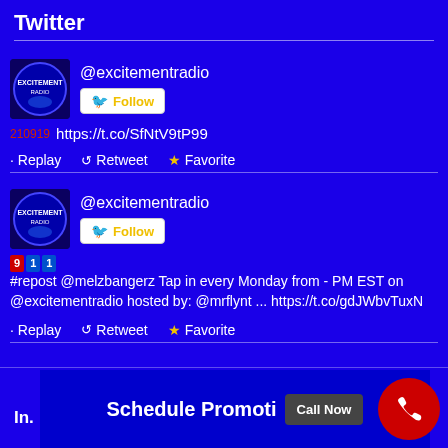Twitter
@excitementradio
https://t.co/SfNtV9tP99
· Replay   ↺ Retweet   ★ Favorite
@excitementradio
#repost @melzbangerz Tap in every Monday from - PM EST on @excitementradio hosted by: @mrflynt ... https://t.co/gdJWbvTuxN
· Replay   ↺ Retweet   ★ Favorite
Schedule Promoti   Call Now
In.